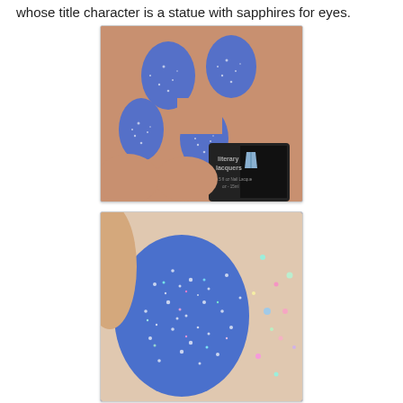whose title character is a statue with sapphires for eyes.
[Figure (photo): Close-up photo of four fingernails painted with sparkly blue glitter nail polish, with a Literary Lacquers nail polish bottle visible in the lower right corner.]
[Figure (photo): Close-up macro photo of a single fingernail painted with sparkly blue holographic glitter nail polish, with more scattered glitter particles visible to the right.]